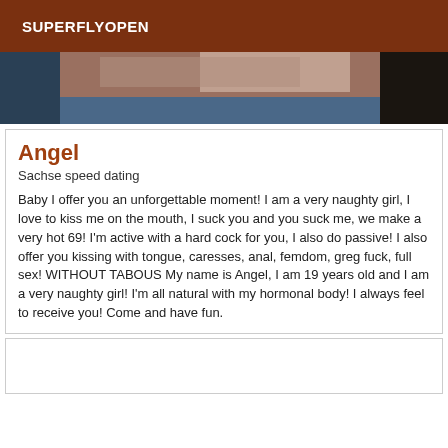SUPERFLYOPEN
[Figure (photo): Partial photo showing a dark background, possibly a table or surface with blurred objects]
Angel
Sachse speed dating
Baby I offer you an unforgettable moment! I am a very naughty girl, I love to kiss me on the mouth, I suck you and you suck me, we make a very hot 69! I'm active with a hard cock for you, I also do passive! I also offer you kissing with tongue, caresses, anal, femdom, greg fuck, full sex! WITHOUT TABOUS My name is Angel, I am 19 years old and I am a very naughty girl! I'm all natural with my hormonal body! I always feel to receive you! Come and have fun.